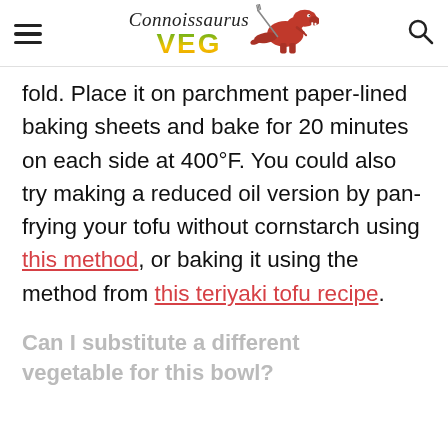Connoissaurus VEG
fold. Place it on parchment paper-lined baking sheets and bake for 20 minutes on each side at 400°F. You could also try making a reduced oil version by pan-frying your tofu without cornstarch using this method, or baking it using the method from this teriyaki tofu recipe.
Can I substitute a different vegetable for this bowl?